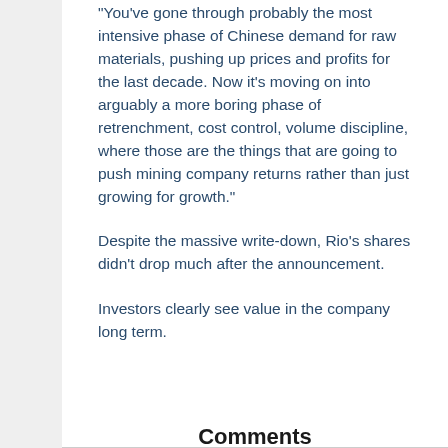"You've gone through probably the most intensive phase of Chinese demand for raw materials, pushing up prices and profits for the last decade. Now it's moving on into arguably a more boring phase of retrenchment, cost control, volume discipline, where those are the things that are going to push mining company returns rather than just growing for growth."
Despite the massive write-down, Rio's shares didn't drop much after the announcement.
Investors clearly see value in the company long term.
Comments